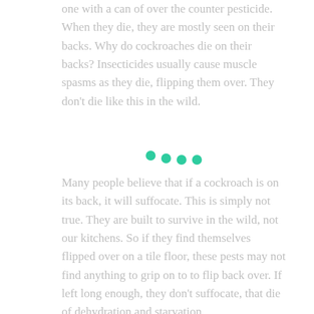one with a can of over the counter pesticide. When they die, they are mostly seen on their backs. Why do cockroaches die on their backs? Insecticides usually cause muscle spasms as they die, flipping them over. They don't die like this in the wild.
[Figure (illustration): Four teal/green dots in a slight descending arc, serving as a decorative separator between paragraphs.]
Many people believe that if a cockroach is on its back, it will suffocate. This is simply not true. They are built to survive in the wild, not our kitchens. So if they find themselves flipped over on a tile floor, these pests may not find anything to grip on to to flip back over. If left long enough, they don't suffocate, that die of dehydration and starvation.